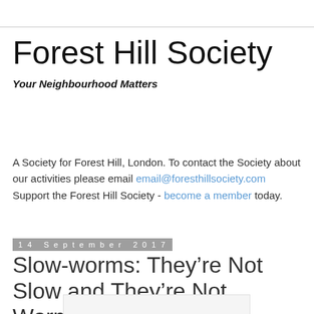Forest Hill Society
Your Neighbourhood Matters
A Society for Forest Hill, London. To contact the Society about our activities please email email@foresthillsociety.com
Support the Forest Hill Society - become a member today.
14 September 2017
Slow-worms: They’re Not Slow and They’re Not Worms!
[Figure (photo): Blank/white image placeholder for article]